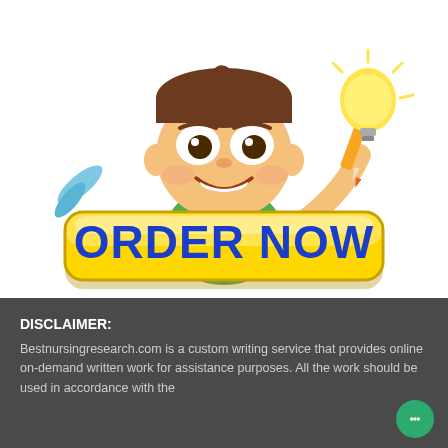[Figure (illustration): Cartoon mascot character — smiling boy holding a pencil and a glowing lightbulb, wearing a green shirt. Below him is a large yellow rounded button with blue bold text reading ORDER NOW.]
DISCLAIMER:
Bestnursingresearch.com is a custom writing service that provides online on-demand written work for assistance purposes. All the work should be used in accordance with the